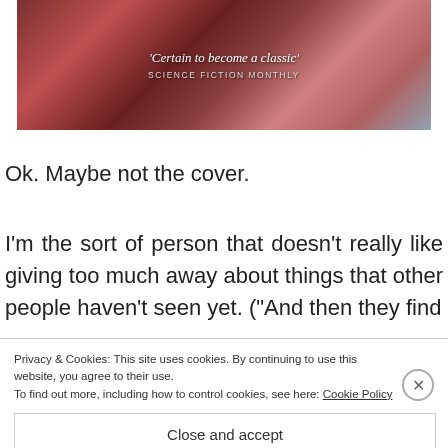[Figure (illustration): Book cover image with reddish/sci-fi artwork and quote text: 'Certain to become a classic' — SCIENCE FICTION MONTHLY]
'Certain to become a classic' SCIENCE FICTION MONTHLY
Ok. Maybe not the cover.
I'm the sort of person that doesn't really like giving too much away about things that other people haven't seen yet. ("And then they find
Privacy & Cookies: This site uses cookies. By continuing to use this website, you agree to their use.
To find out more, including how to control cookies, see here: Cookie Policy
Close and accept